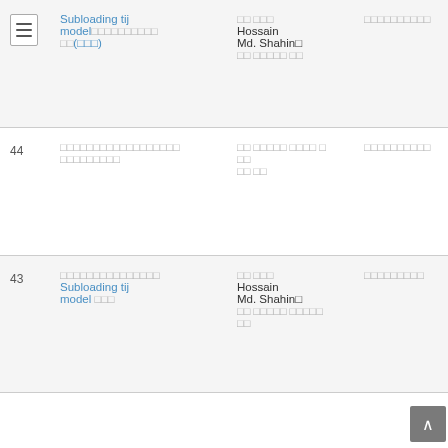| # | Title | Author | Publisher | Year | Info |
| --- | --- | --- | --- | --- | --- |
| 45 | Subloading tij model          (000) |       
Hossain
Md. Shahin 
           |            | 075  | (  ) |
| 44 |                            |             
  
      |            | 075  | (  ) |
| 43 |                 
Subloading tij
model     |       
Hossain
Md. Shahin 
           
   |           | 055  | (  ) |